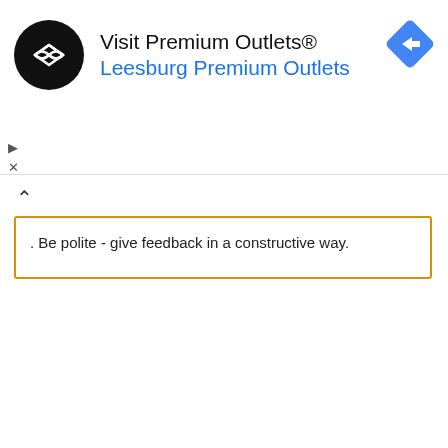[Figure (infographic): Advertisement banner: Visit Premium Outlets® with Leesburg Premium Outlets text, circular black logo with infinity-like symbol, blue diamond navigation icon, and ad control icons (play/close)]
. Be polite - give feedback in a constructive way.